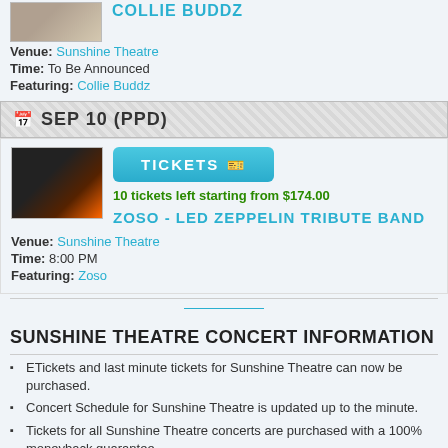COLLIE BUDDZ
Venue: Sunshine Theatre
Time: To Be Announced
Featuring: Collie Buddz
SEP 10 (PPD)
[Figure (photo): Concert photo showing performer on stage with purple/orange lighting]
TICKETS
10 tickets left starting from $174.00
ZOSO - LED ZEPPELIN TRIBUTE BAND
Venue: Sunshine Theatre
Time: 8:00 PM
Featuring: Zoso
SUNSHINE THEATRE CONCERT INFORMATION
ETickets and last minute tickets for Sunshine Theatre can now be purchased.
Concert Schedule for Sunshine Theatre is updated up to the minute.
Tickets for all Sunshine Theatre concerts are purchased with a 100% moneyback guarantee.
Albuquerque Concert Schedule will be some of the most anticipated Sunshine Theatre concerts by far.
Sunshine Theatre continues to be one of the best venues for concert tours in